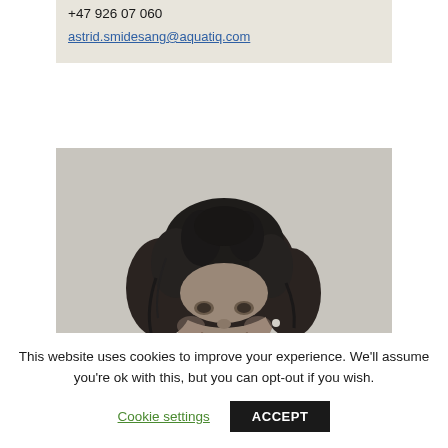+47 926 07 060
astrid.smidesang@aquatiq.com
[Figure (photo): Black and white portrait photo of a woman with curly dark hair, smiling, against a light background.]
This website uses cookies to improve your experience. We'll assume you're ok with this, but you can opt-out if you wish.
Cookie settings
ACCEPT